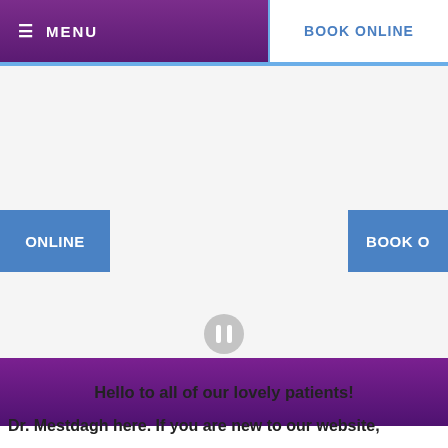≡ MENU    BOOK ONLINE
[Figure (screenshot): Website screenshot showing blue 'ONLINE' button on left and partial 'BOOK O' button on right, with a pause control circle in the center, and a purple gradient banner below]
Hello to all of our lovely patients!
Dr. Mestdagh here.  If you are new to our website,